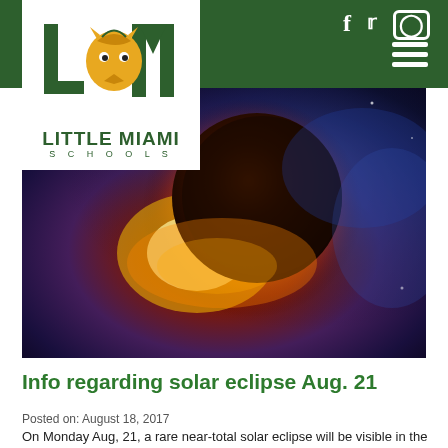[Figure (logo): Little Miami Schools logo with eagle/lion mascot and school name]
Little Miami Schools website header with social media icons (Facebook, Twitter, Instagram) and hamburger menu on dark green background
[Figure (photo): Solar eclipse photo showing the moon blocking the sun with a bright orange-gold corona glow against a dramatic blue-purple nebula-like background]
Info regarding solar eclipse Aug. 21
Posted on: August 18, 2017
On Monday Aug, 21, a rare near-total solar eclipse will be visible in the Little Miami area. While states further to the south will have almost a near-total solar eclipse wide event in